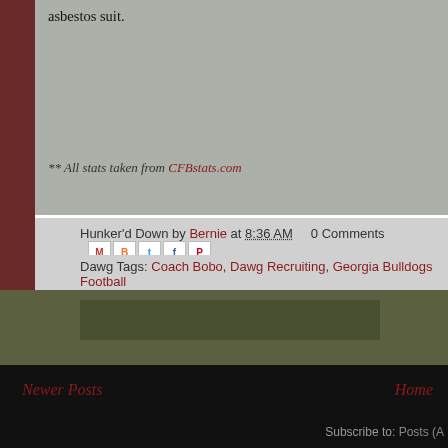asbestos suit.
** All stats taken from CFBstats.com
Hunker'd Down by Bernie at 8:36 AM    0 Comments
Dawg Tags: Coach Bobo, Dawg Recruiting, Georgia Bulldogs Football
Newer Posts
Home
Subscribe to: Posts (A